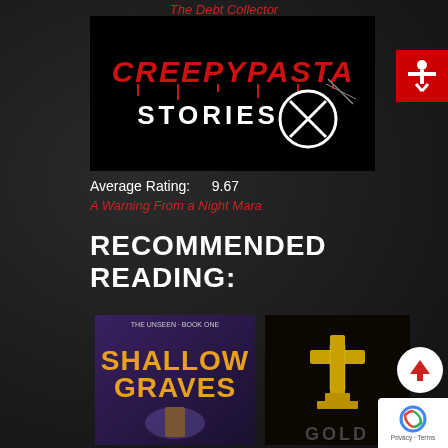The Debt Collector
[Figure (logo): Creepypasta Stories logo — red dripping 'CREEPYPASTA' text above white 'STORIES' text with anarchy circle symbol, on black background]
[Figure (infographic): Red accessibility icon (person with arms out) on red square background in top right]
Average Rating:    9.67
A Warning From a Night Mara
RECOMMENDED READING:
[Figure (photo): Book cover: 'Shallow Graves' — The Unseen Book One, showing a man with golden title text on purple/dark background]
[Figure (photo): Book cover: Dark cover showing a golden trophy/cross figure with partial text 'GOLD' at bottom]
[Figure (infographic): White circle with red upward arrow scroll-to-top button]
[Figure (other): Google reCAPTCHA badge with Privacy and Terms links]